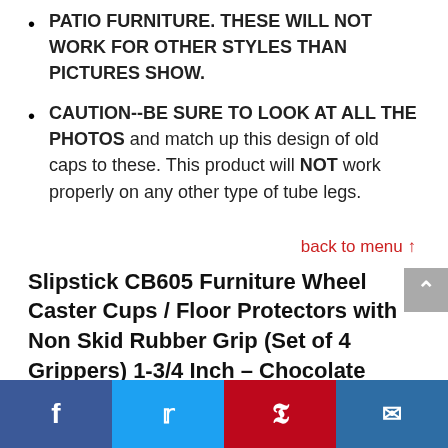PATIO FURNITURE. THESE WILL NOT WORK FOR OTHER STYLES THAN PICTURES SHOW.
CAUTION--BE SURE TO LOOK AT ALL THE PHOTOS and match up this design of old caps to these. This product will NOT work properly on any other type of tube legs.
back to menu ↑
Slipstick CB605 Furniture Wheel Caster Cups / Floor Protectors with Non Skid Rubber Grip (Set of 4 Grippers) 1-3/4 Inch – Chocolate Brown